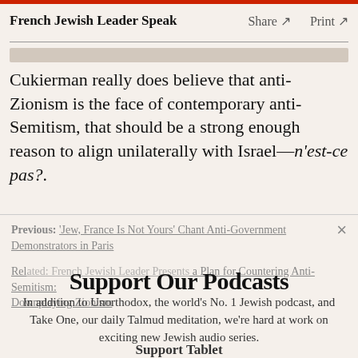French Jewish Leader Speak   Share ↗   Print ↗
Cukierman really does believe that anti-Zionism is the face of contemporary anti-Semitism, that should be a strong enough reason to align unilaterally with Israel—n'est-ce pas?.
Previous: 'Jew, France Is Not Yours' Chant Anti-Government Demonstrators in Paris
Related: French Jewish Leader Presents a Plan for Countering Anti-Semitism: Downplaying Zionism
Support Our Podcasts
In addition to Unorthodox, the world's No. 1 Jewish podcast, and Take One, our daily Talmud meditation, we're hard at work on exciting new Jewish audio series.
Support Tablet